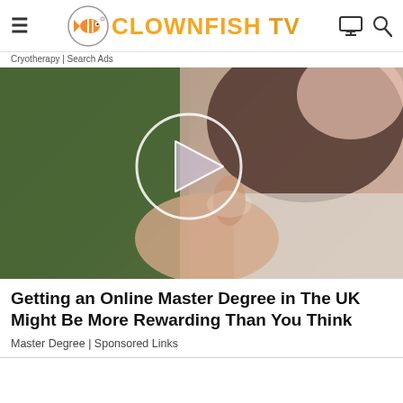CLOWNFISH TV
Cryotherapy | Search Ads
[Figure (photo): Person pointing finger at a glowing play button circle icon, blurred background, used as a video thumbnail image.]
Getting an Online Master Degree in The UK Might Be More Rewarding Than You Think
Master Degree | Sponsored Links